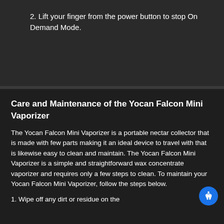2. Lift your finger from the power button to stop On Demand Mode.
Care and Maintenance of the Yocan Falcon Mini Vaporizer
The Yocan Falcon Mini Vaporizer is a portable nectar collector that is made with few parts making it an ideal device to travel with that is likewise easy to clean and maintain. The Yocan Falcon Mini Vaporizer is a simple and straightforward wax concentrate vaporizer and requires only a few steps to clean. To maintain your Yocan Falcon Mini Vaporizer, follow the steps below.
1. Wipe off any dirt or residue on the